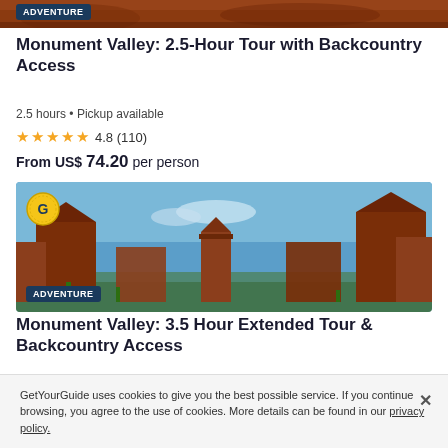[Figure (photo): Top strip of reddish-brown canyon/rock formation photo]
ADVENTURE
Monument Valley: 2.5-Hour Tour with Backcountry Access
2.5 hours • Pickup available
4.8 (110)
From US$ 74.20 per person
[Figure (photo): Monument Valley red rock buttes landscape with blue sky, GetYourGuide badge in top left]
ADVENTURE
Monument Valley: 3.5 Hour Extended Tour & Backcountry Access
3.5 hours • Pickup available
GetYourGuide uses cookies to give you the best possible service. If you continue browsing, you agree to the use of cookies. More details can be found in our privacy policy.